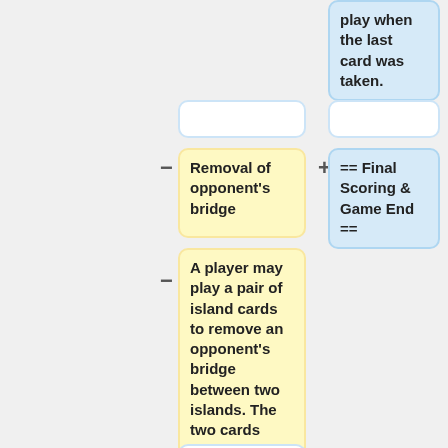play when the last card was taken.
Removal of opponent's bridge
== Final Scoring & Game End ==
A player may play a pair of island cards to remove an opponent's bridge between two islands. The two cards must name only the two islands connected by the bridge to be removed.